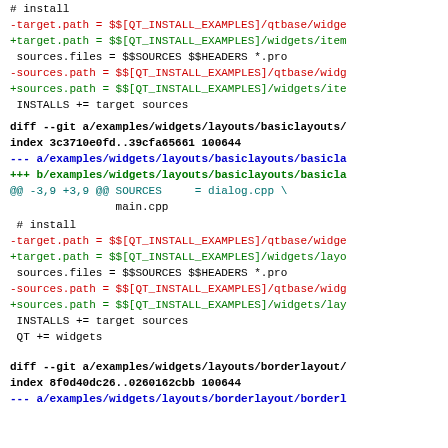# install
-target.path = $$[QT_INSTALL_EXAMPLES]/qtbase/widge
+target.path = $$[QT_INSTALL_EXAMPLES]/widgets/item
 sources.files = $$SOURCES $$HEADERS *.pro
-sources.path = $$[QT_INSTALL_EXAMPLES]/qtbase/widg
+sources.path = $$[QT_INSTALL_EXAMPLES]/widgets/ite
 INSTALLS += target sources
diff --git a/examples/widgets/layouts/basiclayouts/
index 3c3710e0fd..39cfa65661 100644
--- a/examples/widgets/layouts/basiclayouts/basicla
+++ b/examples/widgets/layouts/basiclayouts/basicla
@@ -3,9 +3,9 @@ SOURCES = dialog.cpp \
                 main.cpp

 # install
-target.path = $$[QT_INSTALL_EXAMPLES]/qtbase/widge
+target.path = $$[QT_INSTALL_EXAMPLES]/widgets/layo
 sources.files = $$SOURCES $$HEADERS *.pro
-sources.path = $$[QT_INSTALL_EXAMPLES]/qtbase/widg
+sources.path = $$[QT_INSTALL_EXAMPLES]/widgets/lay
 INSTALLS += target sources

 QT += widgets

diff --git a/examples/widgets/layouts/borderlayout/
index 8f0d40dc26..0260162cbb 100644
--- a/examples/widgets/layouts/borderlayout/borderl